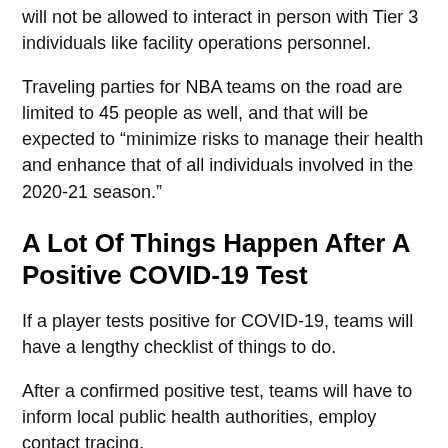will not be allowed to interact in person with Tier 3 individuals like facility operations personnel.
Traveling parties for NBA teams on the road are limited to 45 people as well, and that will be expected to "minimize risks to manage their health and enhance that of all individuals involved in the 2020-21 season."
A Lot Of Things Happen After A Positive COVID-19 Test
If a player tests positive for COVID-19, teams will have a lengthy checklist of things to do.
After a confirmed positive test, teams will have to inform local public health authorities, employ contact tracing,